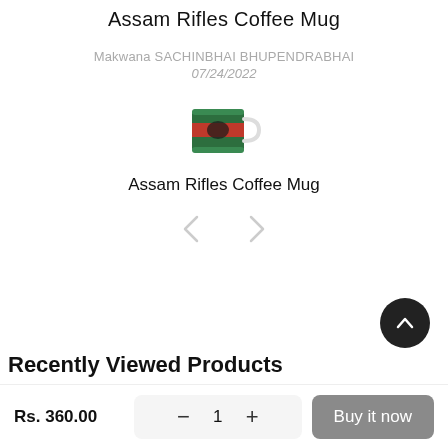Assam Rifles Coffee Mug
Makwana SACHINBHAI BHUPENDRABHAI
07/24/2022
[Figure (photo): Small product image of Assam Rifles Coffee Mug — a green mug with red and black logo design]
Assam Rifles Coffee Mug
Recently Viewed Products
Rs. 360.00
1
Buy it now